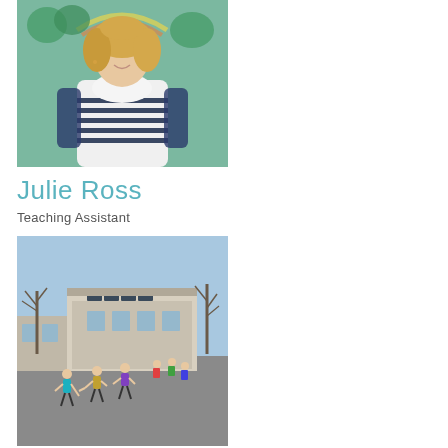[Figure (photo): Portrait photo of Julie Ross, a woman with blonde hair wearing a navy and white striped top, standing in front of a colourful mural with a rainbow.]
Julie Ross
Teaching Assistant
[Figure (photo): Outdoor photo of a school playground/yard with children playing, school buildings with solar panels on the roof visible in the background, and bare trees against a blue sky.]